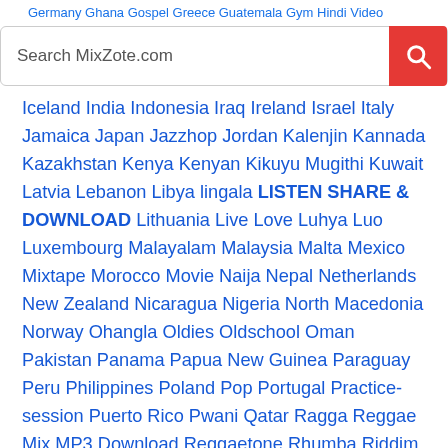Germany Ghana Gospel Greece Guatemala Gym Hindi Video
Search MixZote.com
Iceland India Indonesia Iraq Ireland Israel Italy Jamaica Japan Jazzhop Jordan Kalenjin Kannada Kazakhstan Kenya Kenyan Kikuyu Mugithi Kuwait Latvia Lebanon Libya lingala LISTEN SHARE & DOWNLOAD Lithuania Live Love Luhya Luo Luxembourg Malayalam Malaysia Malta Mexico Mixtape Morocco Movie Naija Nepal Netherlands New Zealand Nicaragua Nigeria North Macedonia Norway Ohangla Oldies Oldschool Oman Pakistan Panama Papua New Guinea Paraguay Peru Philippines Poland Pop Portugal Practice-session Puerto Rico Pwani Qatar Ragga Reggae Mix MP3 Download Reggaetone Rhumba Riddim Mix RnB Rock Romance Romania Russia Saudi Arabia Senegal Serbia SHARE & DOWNLOAD Singapore Slovakia Slovenia Soul SoundCloud South Africa South African South Korea Spain Sri Lanka Sweden Switzerland Taiwan Tanzania Techno Thailand Trap Tubidy Music Mixes Songs Tunisia Turkey Uganda Ukraine United Arab Emirates United Kingdom United States